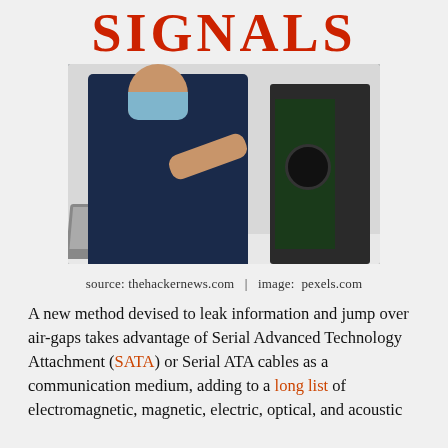Signals
[Figure (photo): A technician wearing a mask and dark blue shirt working on an open desktop computer tower, with a laptop nearby on the desk.]
source: thehackernews.com  |  image:  pexels.com
A new method devised to leak information and jump over air-gaps takes advantage of Serial Advanced Technology Attachment (SATA) or Serial ATA cables as a communication medium, adding to a long list of electromagnetic, magnetic, electric, optical, and acoustic